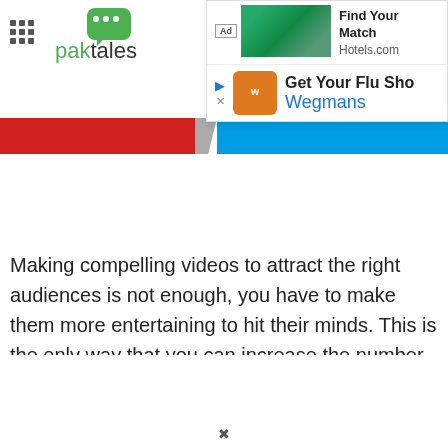[Figure (logo): Paktales website logo with green speech bubble icon and text 'paktales']
[Figure (screenshot): Ad popup showing Hotels.com 'Find Your Match' banner and Wegmans 'Get Your Flu Sho...' advertisement]
[Figure (infographic): Red and blue diagonal color band navigation bar]
Making compelling videos to attract the right audiences is not enough, you have to make them more entertaining to hit their minds. This is the only way that you can increase the number of...